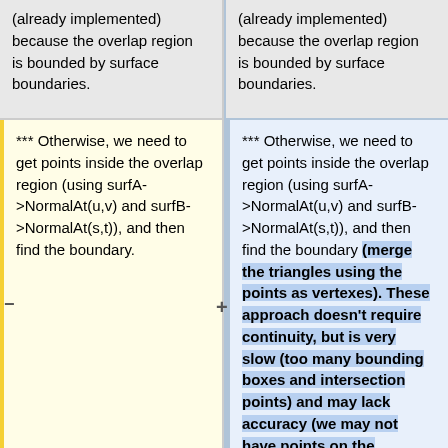(already implemented) because the overlap region is bounded by surface boundaries.
(already implemented) because the overlap region is bounded by surface boundaries.
*** Otherwise, we need to get points inside the overlap region (using surfA->NormalAt(u,v) and surfB->NormalAt(s,t)), and then find the boundary.
*** Otherwise, we need to get points inside the overlap region (using surfA->NormalAt(u,v) and surfB->NormalAt(s,t)), and then find the boundary (merge the triangles using the points as vertexes). These approach doesn't require continuity, but is very slow (too many bounding boxes and intersection points) and may lack accuracy (we may not have points on the boundaries)